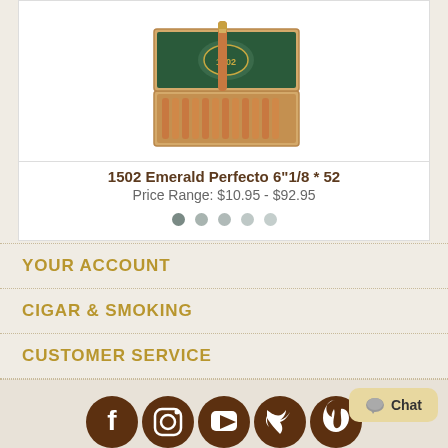[Figure (photo): Open wooden cigar box (1502 Emerald) with green interior and cigars arranged inside, one cigar displayed upright]
1502 Emerald Perfecto 6"1/8 * 52
Price Range: $10.95 - $92.95
YOUR ACCOUNT
CIGAR & SMOKING
CUSTOMER SERVICE
[Figure (illustration): Social media icons: Facebook, Instagram, YouTube, Twitter, Pinterest in dark brown circles]
Chat